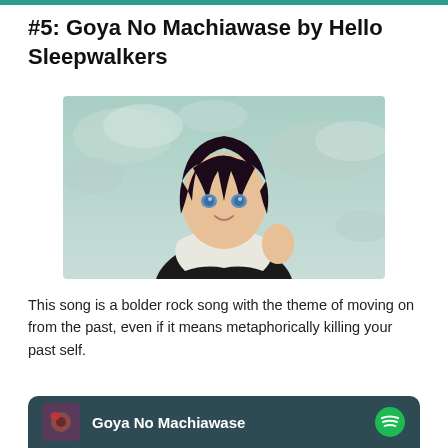#5: Goya No Machiawase by Hello Sleepwalkers
[Figure (illustration): Anime character with dark hair, blue eyes, wearing a white scarf and black jacket, raising one hand, against a cloudy teal sky background]
This song is a bolder rock song with the theme of moving on from the past, even if it means metaphorically killing your past self.
[Figure (screenshot): Spotify player bar showing 'Goya No Machiawase' with album art and Spotify logo on dark teal background]